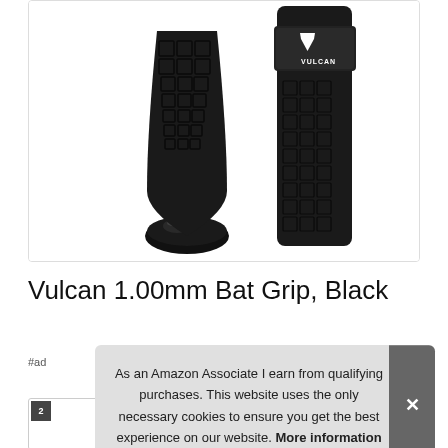[Figure (photo): Product photo of two Vulcan 1.00mm Bat Grips in black, showing textured rubber grip pattern and Vulcan logo on a white background with a light border]
Vulcan 1.00mm Bat Grip, Black
#ad
As an Amazon Associate I earn from qualifying purchases. This website uses the only necessary cookies to ensure you get the best experience on our website. More information